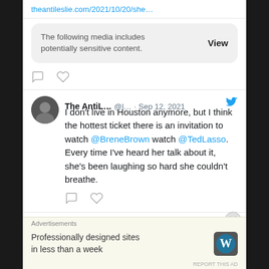theantileslie.com/2021/10/20/she…
The following media includes potentially sensitive content.  View
The AntiL… @l… · Sep 12, 2021  I don't live in Houston anymore, but I think the hottest ticket there is an invitation to watch @BreneBrown watch @TedLasso. Every time I've heard her talk about it, she's been laughing so hard she couldn't breathe.
Advertisements
Professionally designed sites in less than a week